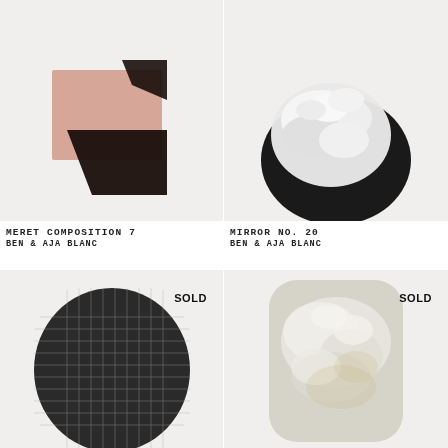[Figure (photo): Artwork: Meret Composition 7 — abstract geometric shapes, peach/salmon rectangle overlapping dark brown/black angular shape on light grey background]
[Figure (photo): Artwork: Mirror No. 20 — white sculptural cloud-like form on a black oval base, on light grey background]
MERET COMPOSITION 7
BEN & AJA BLANC
MIRROR NO. 20
BEN & AJA BLANC
[Figure (photo): Artwork: crosshatch graphite/charcoal textured oval shape on light grey background, marked SOLD]
[Figure (photo): Artwork: pearlescent white rounded rectangle with sculptural relief texture, golden tones, on light grey background, marked SOLD]